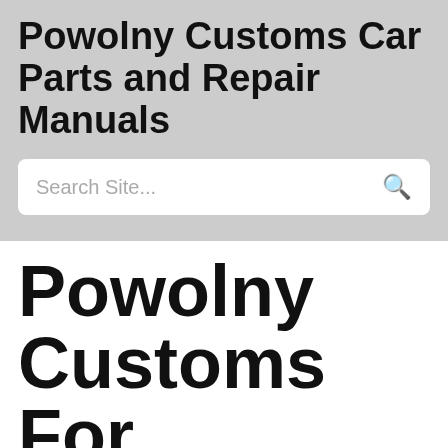Powolny Customs Car Parts and Repair Manuals
Search Site...
Powolny Customs For